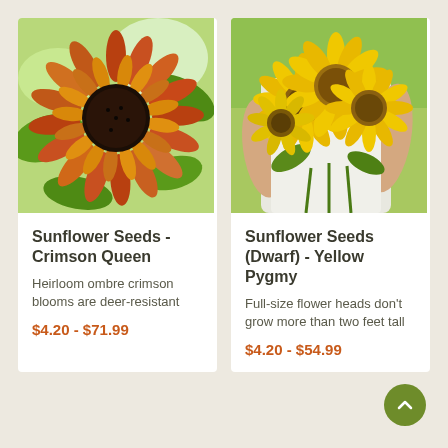[Figure (photo): Close-up photo of a dark red/orange heirloom sunflower with dark center and green leaves in background]
Sunflower Seeds - Crimson Queen
Heirloom ombre crimson blooms are deer-resistant
$4.20 - $71.99
[Figure (photo): Photo of a person holding a large bouquet of yellow sunflowers]
Sunflower Seeds (Dwarf) - Yellow Pygmy
Full-size flower heads don't grow more than two feet tall
$4.20 - $54.99